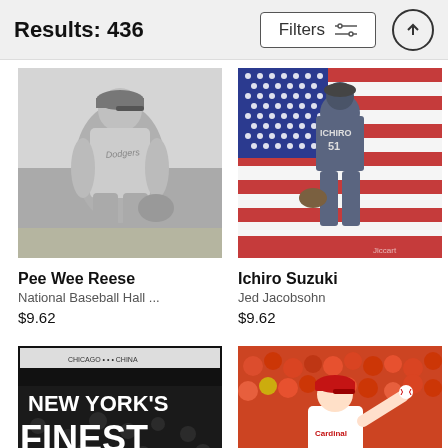Results: 436
Filters
[Figure (photo): Black and white photo of Pee Wee Reese in Dodgers uniform, crouching on a baseball field]
Pee Wee Reese
National Baseball Hall ...
$9.62
[Figure (photo): Ichiro Suzuki, #51, walking away from camera in front of a large American flag]
Ichiro Suzuki
Jed Jacobsohn
$9.62
[Figure (photo): Newspaper or poster graphic reading NEW YORK'S FINEST with crowd in background]
[Figure (photo): St. Louis Cardinals pitcher throwing ball, crowd in background]